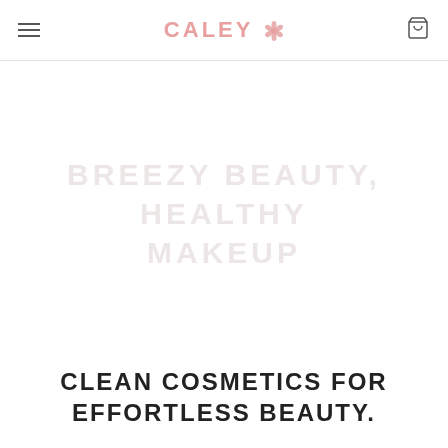CALEY
BREEZY BEAUTY, HEALTHY MAKEUP
CLEAN COSMETICS FOR EFFORTLESS BEAUTY.